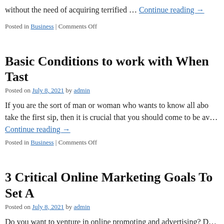without the need of acquiring terrified … Continue reading →
Posted in Business | Comments Off
Basic Conditions to work with When Tast…
Posted on July 8, 2021 by admin
If you are the sort of man or woman who wants to know all abo… take the first sip, then it is crucial that you should come to be av… Continue reading →
Posted in Business | Comments Off
3 Critical Online Marketing Goals To Set A…
Posted on July 8, 2021 by admin
Do you want to venture in online promoting and advertising? D… of the internet marketing nuts and bolts? Do you want to know w… trained in affiliate marketing the … Continue reading →